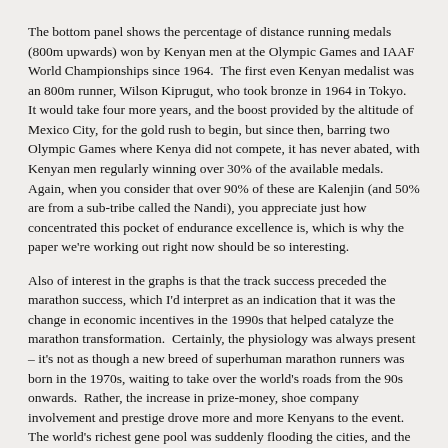The bottom panel shows the percentage of distance running medals (800m upwards) won by Kenyan men at the Olympic Games and IAAF World Championships since 1964.  The first even Kenyan medalist was an 800m runner, Wilson Kiprugut, who took bronze in 1964 in Tokyo.  It would take four more years, and the boost provided by the altitude of Mexico City, for the gold rush to begin, but since then, barring two Olympic Games where Kenya did not compete, it has never abated, with Kenyan men regularly winning over 30% of the available medals.  Again, when you consider that over 90% of these are Kalenjin (and 50% are from a sub-tribe called the Nandi), you appreciate just how concentrated this pocket of endurance excellence is, which is why the paper we're working out right now should be so interesting.
Also of interest in the graphs is that the track success preceded the marathon success, which I'd interpret as an indication that it was the change in economic incentives in the 1990s that helped catalyze the marathon transformation.  Certainly, the physiology was always present – it's not as though a new breed of superhuman marathon runners was born in the 1970s, waiting to take over the world's roads from the 90s onwards.  Rather, the increase in prize-money, shoe company involvement and prestige drove more and more Kenyans to the event.  The world's richest gene pool was suddenly flooding the cities, and the result is the graphs you see above.